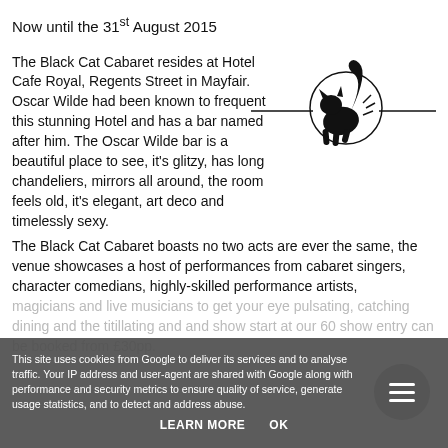Now until the 31st August 2015
[Figure (illustration): Black cat logo with crescent moon and decorative horizontal lines]
The Black Cat Cabaret resides at Hotel Cafe Royal, Regents Street in Mayfair.  Oscar Wilde had been known to frequent this stunning Hotel and has a bar named after him. The Oscar Wilde bar is a beautiful place to see, it's glitzy, has long chandeliers, mirrors all around, the room feels old, it's elegant, art deco and timelessly sexy.
The Black Cat Cabaret boasts no two acts are ever the same, the venue showcases a host of performances from cabaret singers, character comedians, highly-skilled performance artists,
magicians and live musicians to get your eye pulsating, catching dining and the titillating and and show start at our 60 show entry can be booked from £30pp.
This site uses cookies from Google to deliver its services and to analyse traffic. Your IP address and user-agent are shared with Google along with performance and security metrics to ensure quality of service, generate usage statistics, and to detect and address abuse.
LEARN MORE    OK